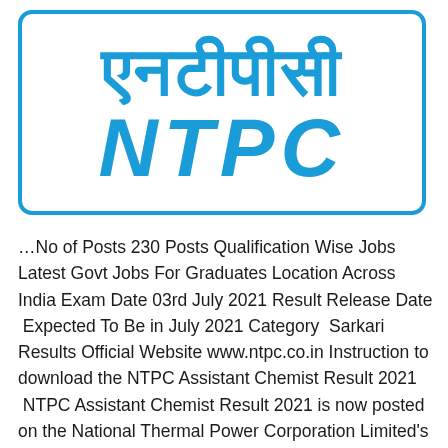[Figure (logo): NTPC logo with Hindi text (एनटीपीसी) above and NTPC in bold blue italic letters, enclosed in a blue rounded rectangle border]
…No of Posts 230 Posts Qualification Wise Jobs Latest Govt Jobs For Graduates Location Across India Exam Date 03rd July 2021 Result Release Date  Expected To Be in July 2021 Category  Sarkari Results Official Website www.ntpc.co.in Instruction to download the NTPC Assistant Chemist Result 2021  NTPC Assistant Chemist Result 2021 is now posted on the National Thermal Power Corporation Limited's official website. The candidates can…